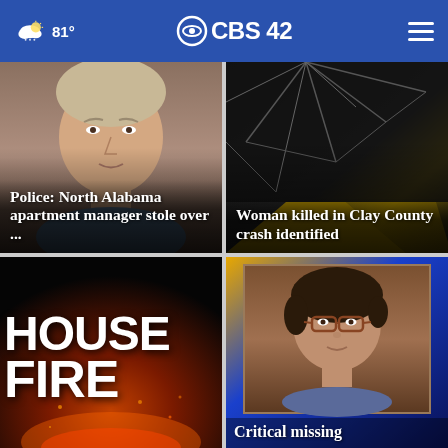CBS 42  81°
[Figure (photo): News article card: mugshot of North Alabama woman, text overlay reading 'Police: North Alabama apartment manager stole over ...']
[Figure (photo): News article card: shattered car windshield with yellow road marking visible, text overlay reading 'Woman killed in Clay County crash identified']
[Figure (photo): News article card: House Fire graphic with large stylized text 'HOUSE FIRE' over fire imagery]
[Figure (photo): News article card: portrait photo of older woman with glasses against blue/gold background, text overlay reading 'Critical missing']